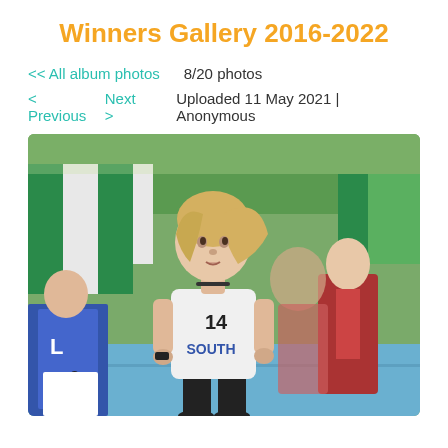Winners Gallery 2016-2022
<< All album photos   8/20 photos
< Previous  Next >    Uploaded 11 May 2021 | Anonymous
[Figure (photo): Young female track runner wearing white jersey number 14 with 'SOUTH' text, running in a race. Another runner in blue jersey number 9 is visible on the left, and a runner in red jersey is on the right. Green and white banners visible in background.]